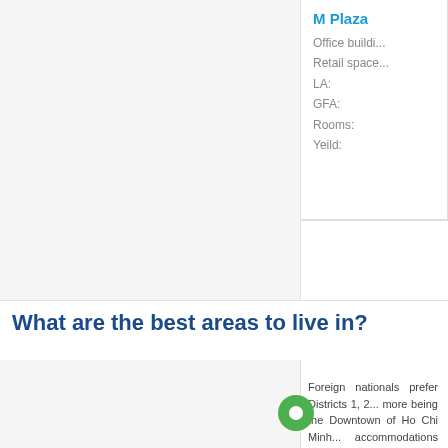[Figure (other): Left pane image area (cropped, mostly white/grey background)]
M Plaza
Office buildi...
Retail space...
LA:
GFA:
Rooms:
Yeild:
What are the best areas to live in?
[Figure (other): Bottom left image pane (cropped)]
Foreign nationals prefer Districts 1, 2... being the Downtown of Ho Chi Minh... accommodations are of a smaller volume so...